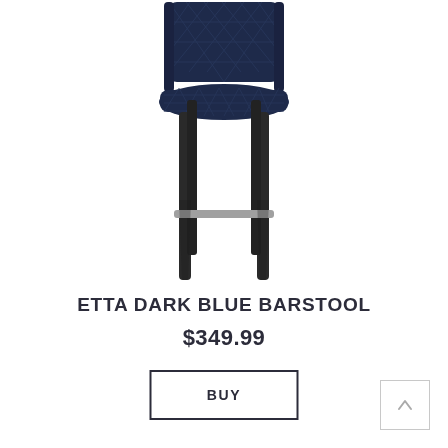[Figure (illustration): A dark navy blue upholstered barstool with quilted diamond-pattern fabric on the seat and back, black tapered legs, and a silver metal footrest.]
ETTA DARK BLUE BARSTOOL
$349.99
BUY